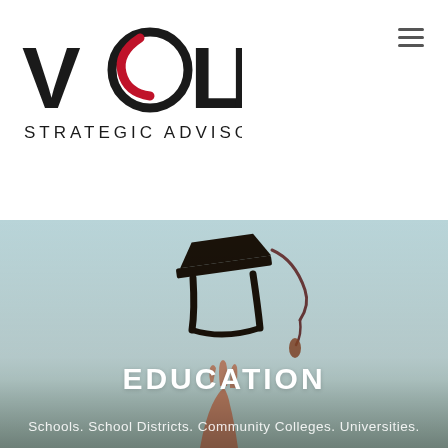[Figure (logo): Voler Strategic Advisors logo — large bold VOLER wordmark in black with a red swirl replacing the O, and 'STRATEGIC ADVISORS' in smaller black caps below]
[Figure (photo): A graduation cap being tossed into the air against a teal/grey sky, with a hand reaching up from the bottom. Overlaid with the text EDUCATION and tagline 'Schools. School Districts. Community Colleges. Universities.']